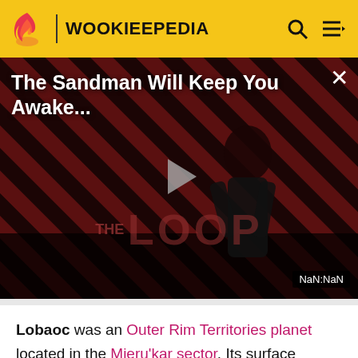WOOKIEEPEDIA
[Figure (screenshot): Video player thumbnail showing 'The Sandman Will Keep You Awake...' with a dark-cloaked figure against a red diagonal striped background. Play button in center. 'THE LOOP' text visible at bottom. NaN:NaN timestamp shown.]
Lobaoc was an Outer Rim Territories planet located in the Mieru'kar sector. Its surface featured lakes and marshes, which were home to the tentacled and omnivorous dianogas. Human and Near-Human farmers maintained